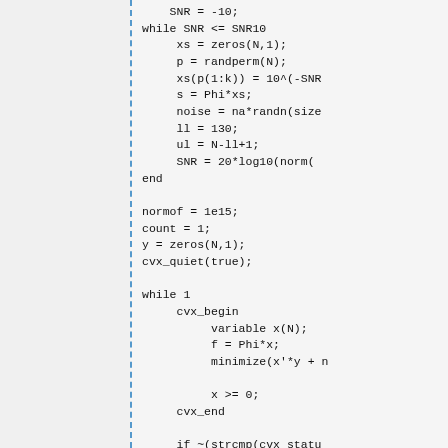Code block showing MATLAB/CVX code for SNR loop and convex optimization